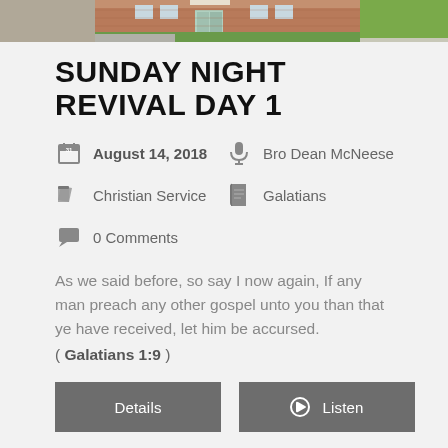[Figure (photo): Partial photo of a brick church building with green lawn, shown as a strip at the top of the page]
SUNDAY NIGHT REVIVAL DAY 1
August 14, 2018 | Bro Dean McNeese | Christian Service | Galatians | 0 Comments
As we said before, so say I now again, If any man preach any other gospel unto you than that ye have received, let him be accursed.
( Galatians 1:9 )